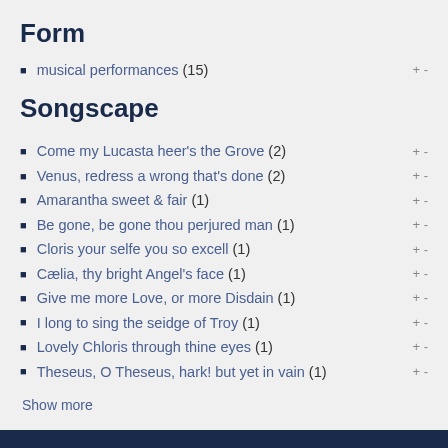Form
musical performances (15)
Songscape
Come my Lucasta heer's the Grove (2)
Venus, redress a wrong that's done (2)
Amarantha sweet & fair (1)
Be gone, be gone thou perjured man (1)
Cloris your selfe you so excell (1)
Cælia, thy bright Angel's face (1)
Give me more Love, or more Disdain (1)
I long to sing the seidge of Troy (1)
Lovely Chloris through thine eyes (1)
Theseus, O Theseus, hark! but yet in vain (1)
Show more